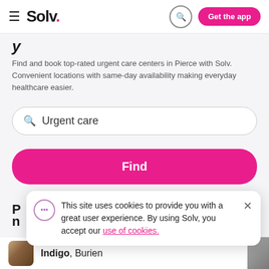≡ Solv. [search icon] Get the app
y
Find and book top-rated urgent care centers in Pierce with Solv. Convenient locations with same-day availability making everyday healthcare easier.
Urgent care [search input]
Find
This site uses cookies to provide you with a great user experience. By using Solv, you accept our use of cookies.
Indigo, Burien